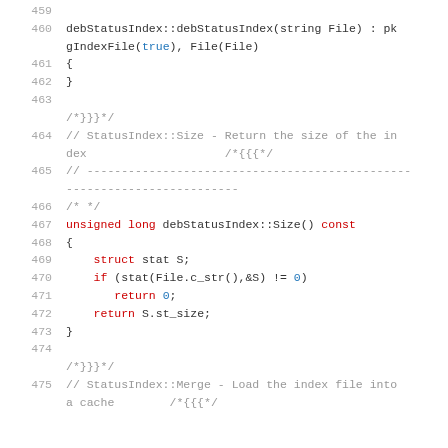Source code listing lines 460-475, C++ code for debStatusIndex class methods
460: debStatusIndex::debStatusIndex(string File) : pk
gIndexFile(true), File(File)
461: {
462: }
463: (empty)
/*}}}*/
464: // StatusIndex::Size - Return the size of the index  /*{{{*/
465: // -------------------------------------------------------------------------
466: /* */
467: unsigned long debStatusIndex::Size() const
468: {
469:    struct stat S;
470:    if (stat(File.c_str(),&S) != 0)
471:       return 0;
472:    return S.st_size;
473: }
474: (empty)
/*}}}*/
475: // StatusIndex::Merge - Load the index file into a cache  /*{{{*/